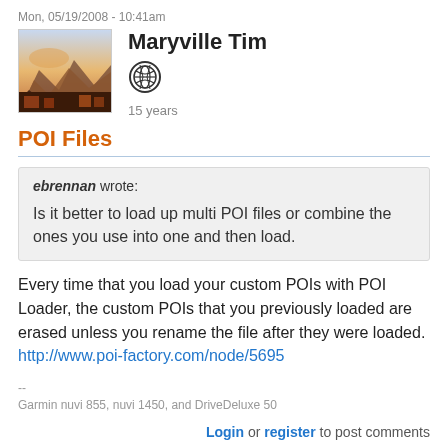Mon, 05/19/2008 - 10:41am
Maryville Tim
15 years
POI Files
ebrennan wrote:

Is it better to load up multi POI files or combine the ones you use into one and then load.
Every time that you load your custom POIs with POI Loader, the custom POIs that you previously loaded are erased unless you rename the file after they were loaded.
http://www.poi-factory.com/node/5695
--
Garmin nuvi 855, nuvi 1450, and DriveDeluxe 50
Login or register to post comments